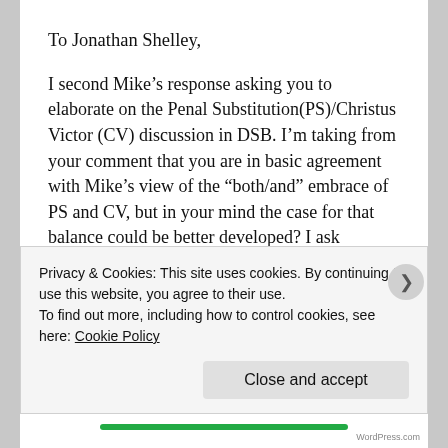To Jonathan Shelley,
I second Mike’s response asking you to elaborate on the Penal Substitution(PS)/Christus Victor (CV) discussion in DSB. I’m taking from your comment that you are in basic agreement with Mike’s view of the “both/and” embrace of PS and CV, but in your mind the case for that balance could be better developed? I ask because this view of the atonement is somewhat of a recent concept in my own theological experiance; fuelled in part by Bruce Ware’s disscussion of the extent of the atonement
Privacy & Cookies: This site uses cookies. By continuing to use this website, you agree to their use.
To find out more, including how to control cookies, see here: Cookie Policy
Close and accept